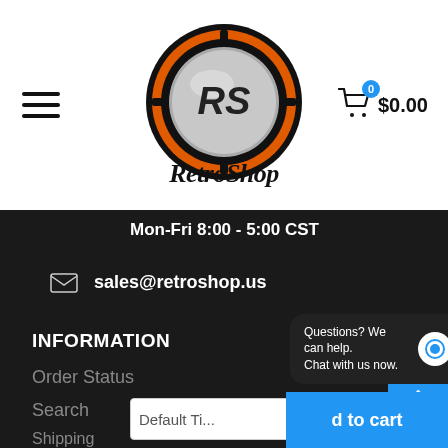[Figure (logo): RetroShop logo — circular poker chip design with orange and black colors, RS monogram, with 'RetroShop' script text below]
Mon-Fri 8:00 - 5:00 CST
sales@retroshop.us
INFORMATION
Order Status
Search
Shipping
Questions? We can help.
Chat with us now.
Default Ti...
d to cart
$0.00